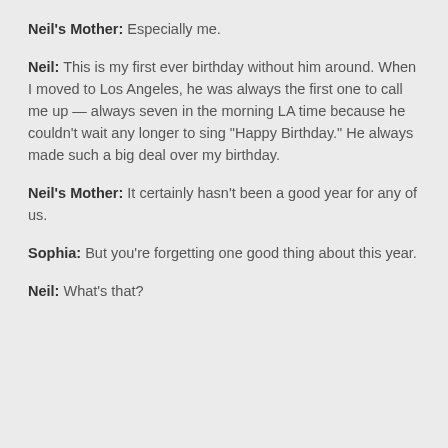Neil's Mother:  Especially me.
Neil:  This is my first ever birthday without him around.  When I moved to Los Angeles, he was always the first one to call me up — always seven in the morning LA time because he couldn't wait any longer to sing "Happy Birthday."  He always made such a big deal over my birthday.
Neil's Mother:  It certainly hasn't been a good year for any of us.
Sophia:  But you're forgetting one good thing about this year.
Neil:  What's that?